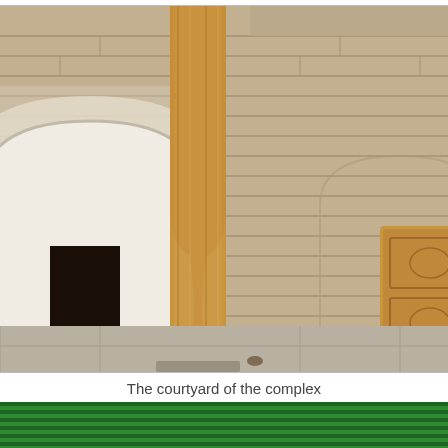[Figure (photo): Photo of a courtyard of a complex showing a tall carved wooden column in the foreground, a pointed arch doorway with whitewashed interior walls, a carved wooden door on the right side against a brick wall, and decorated lattice balcony above. The architecture appears to be Central Asian (Uzbek) style with brick construction.]
The courtyard of the complex
[Figure (photo): Photo showing a decorative painted ceiling with green corrugated panels and red painted beams with detailed floral and geometric painted ornamentation. Central Asian architectural interior ceiling detail with vibrant colors including green, red, and multicolored painted designs.]